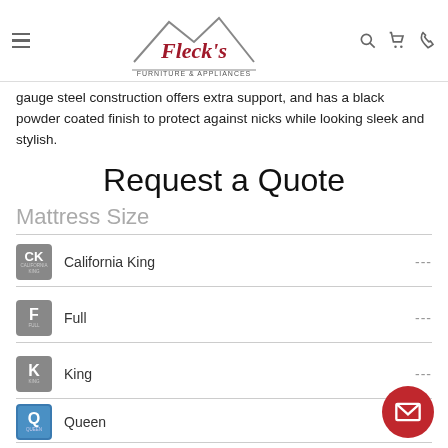Fleck's Furniture & Appliances
gauge steel construction offers extra support, and has a black powder coated finish to protect against nicks while looking sleek and stylish.
Request a Quote
Mattress Size
California King ---
Full ---
King ---
Queen ---
Twin ---